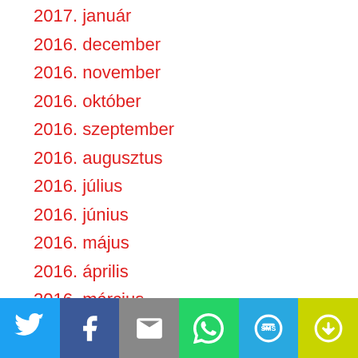2017. január
2016. december
2016. november
2016. október
2016. szeptember
2016. augusztus
2016. július
2016. június
2016. május
2016. április
2016. március
2016. február
2016. január
[Figure (infographic): Social sharing bar with buttons for Twitter, Facebook, Email, WhatsApp, SMS, and More]